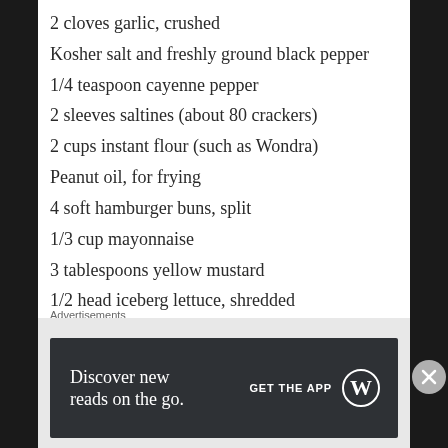2 cloves garlic, crushed
Kosher salt and freshly ground black pepper
1/4 teaspoon cayenne pepper
2 sleeves saltines (about 80 crackers)
2 cups instant flour (such as Wondra)
Peanut oil, for frying
4 soft hamburger buns, split
1/3 cup mayonnaise
3 tablespoons yellow mustard
1/2 head iceberg lettuce, shredded
2 tomatoes, thinly sliced
1 red onion, thinly sliced
4 half-sour dill pickles, thinly slicedDirectionsCut the pork crosswise into 4 equal pieces. Put each piece flat on a cutting board and slice horizontally almost in half (stop about 1 inch from the other side). Open like a
Advertisements
[Figure (other): WordPress app advertisement banner with dark background reading 'Discover new reads on the go.' with a GET THE APP button and WordPress logo]